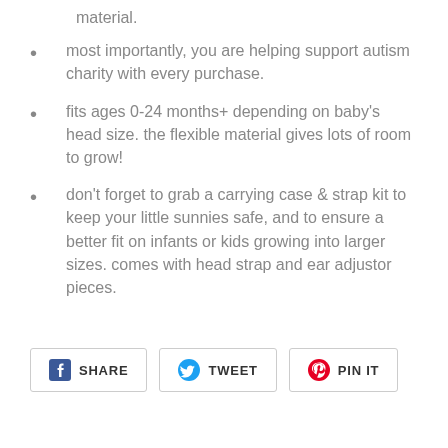material.
most importantly, you are helping support autism charity with every purchase.
fits ages 0-24 months+ depending on baby's head size. the flexible material gives lots of room to grow!
don't forget to grab a carrying case & strap kit to keep your little sunnies safe, and to ensure a better fit on infants or kids growing into larger sizes. comes with head strap and ear adjustor pieces.